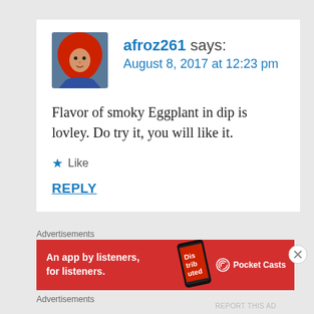[Figure (photo): Avatar photo of user afroz261 wearing a red hijab]
afroz261 says:
August 8, 2017 at 12:23 pm
Flavor of smoky Eggplant in dip is lovley. Do try it, you will like it.
★ Like
REPLY
Advertisements
[Figure (screenshot): Pocket Casts advertisement banner: An app by listeners, for listeners.]
Advertisements